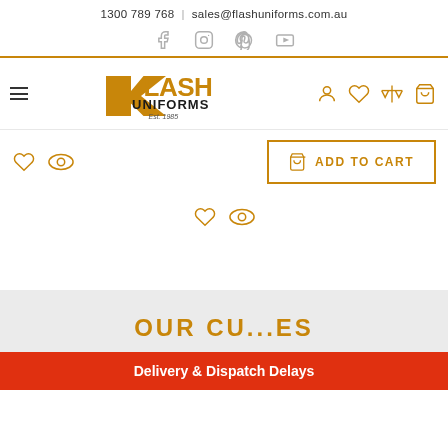1300 789 768 | sales@flashuniforms.com.au
[Figure (screenshot): Flash Uniforms website screenshot showing navigation header with logo, social icons, hamburger menu, product page elements with Add to Cart button, and a delivery delay banner]
OUR CU...ES
Delivery & Dispatch Delays